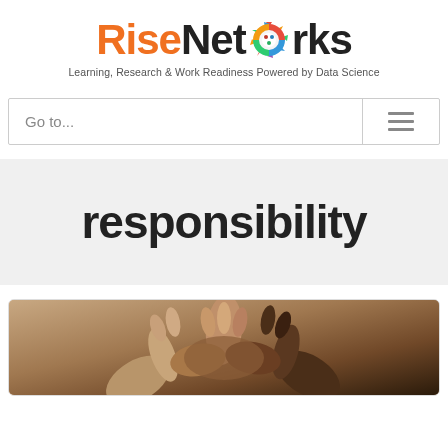[Figure (logo): RiseNetworks logo with orange 'Rise' text, black 'Networks' text, and colorful gear icon replacing the 'o']
Learning, Research & Work Readiness Powered by Data Science
Go to...
responsibility
[Figure (photo): Multiple hands joined together in a teamwork/responsibility gesture]